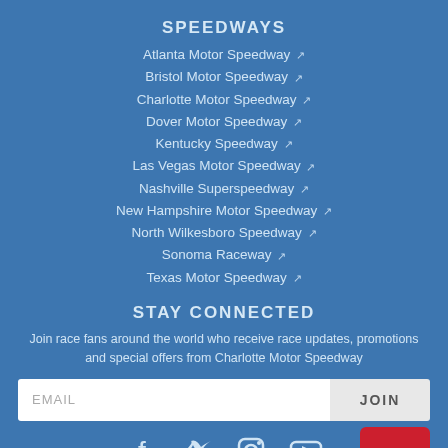SPEEDWAYS
Atlanta Motor Speedway ↗
Bristol Motor Speedway ↗
Charlotte Motor Speedway ↗
Dover Motor Speedway ↗
Kentucky Speedway ↗
Las Vegas Motor Speedway ↗
Nashville Superspeedway ↗
New Hampshire Motor Speedway ↗
North Wilkesboro Speedway ↗
Sonoma Raceway ↗
Texas Motor Speedway ↗
STAY CONNECTED
Join race fans around the world who receive race updates, promotions and special offers from Charlotte Motor Speedway
[Figure (other): Email signup form with EMAIL input field and JOIN button]
[Figure (other): Social media icons: Facebook, Twitter, Instagram, YouTube, and Chat button]
ALSO OF INTEREST